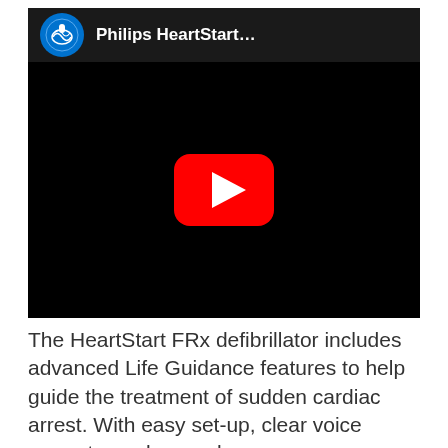[Figure (screenshot): YouTube video thumbnail showing a Philips HeartStart video. The video player has a dark header with the Philips circular logo and channel name 'Philips HeartStart...' followed by a large black video area with a YouTube play button (red rounded rectangle with white triangle) centered in it.]
The HeartStart FRx defibrillator includes advanced Life Guidance features to help guide the treatment of sudden cardiac arrest. With easy set-up, clear voice prompts, and rugged